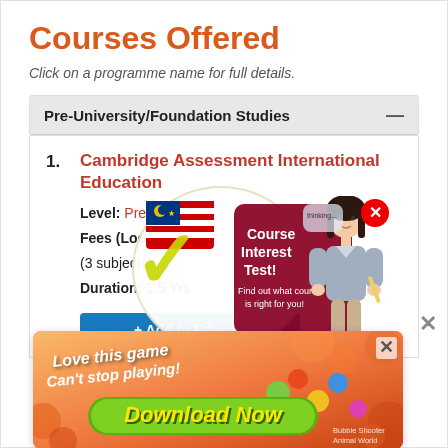Courses Offered
Click on a programme name for full details.
Pre-University/Foundation Studies
1. Cambridge Assessment International Education
Level: Pre-University
Fees (Local): RM 3... (3 subjects)
Duration: 1.5 Yrs
[Figure (infographic): Course Interest Test popup overlay with a Malaysian flag checkmark sticker, a girl thinking, text 'Course Interest Test - Find out what course is right for you!' and a red X close button]
[Figure (infographic): Bottom advertisement banner with orange gradient background, text 'Love this game Can't stop playing!', 'Download Now' green button, and 'Bubble Shooter Animal World' watermark. An X close button is visible.]